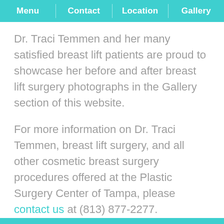Menu | Contact | Location | Gallery
Dr. Traci Temmen and her many satisfied breast lift patients are proud to showcase her before and after breast lift surgery photographs in the Gallery section of this website.
For more information on Dr. Traci Temmen, breast lift surgery, and all other cosmetic breast surgery procedures offered at the Plastic Surgery Center of Tampa, please contact us at (813) 877-2277.